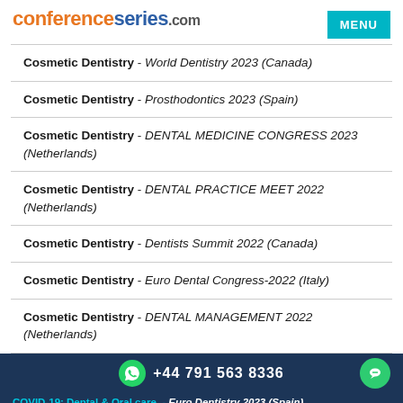conferenceseries.com
Cosmetic Dentistry - World Dentistry 2023 (Canada)
Cosmetic Dentistry - Prosthodontics 2023 (Spain)
Cosmetic Dentistry - DENTAL MEDICINE CONGRESS 2023 (Netherlands)
Cosmetic Dentistry - DENTAL PRACTICE MEET 2022 (Netherlands)
Cosmetic Dentistry - Dentists Summit 2022 (Canada)
Cosmetic Dentistry - Euro Dental Congress-2022 (Italy)
Cosmetic Dentistry - DENTAL MANAGEMENT 2022 (Netherlands)
+44 791 563 8336
COVID-19: Dental & Oral care. - Euro Dentistry 2023 (Spain)